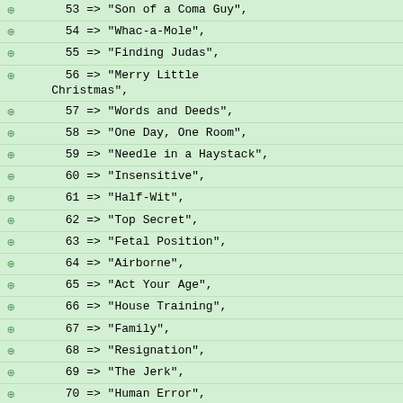53 => "Son of a Coma Guy",
54 => "Whac-a-Mole",
55 => "Finding Judas",
56 => "Merry Little Christmas",
57 => "Words and Deeds",
58 => "One Day, One Room",
59 => "Needle in a Haystack",
60 => "Insensitive",
61 => "Half-Wit",
62 => "Top Secret",
63 => "Fetal Position",
64 => "Airborne",
65 => "Act Your Age",
66 => "House Training",
67 => "Family",
68 => "Resignation",
69 => "The Jerk",
70 => "Human Error",
71 => "Alone",
72 => "The Right Stuff",
73 => "97 Seconds",
74 => "Guardian Angels",